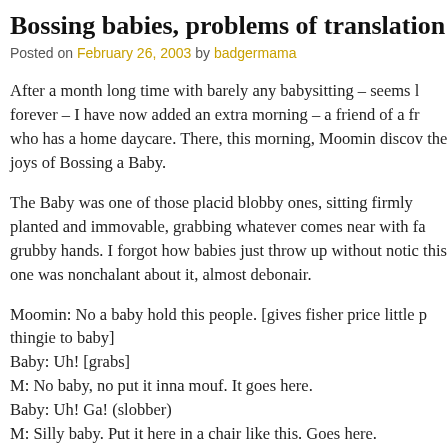Bossing babies, problems of translation
Posted on February 26, 2003 by badgermama
After a month long time with barely any babysitting – seems like forever – I have now added an extra morning – a friend of a friend who has a home daycare. There, this morning, Moomin discovered the joys of Bossing a Baby.
The Baby was one of those placid blobby ones, sitting firmly planted and immovable, grabbing whatever comes near with fat grubby hands. I forgot how babies just throw up without notice; this one was nonchalant about it, almost debonair.
Moomin: No a baby hold this people. [gives fisher price little p thingie to baby]
Baby: Uh! [grabs]
M: No baby, no put it inna mouf. It goes here.
Baby: Uh! Ga! (slobber)
M: Silly baby. Put it here in a chair like this. Goes here.